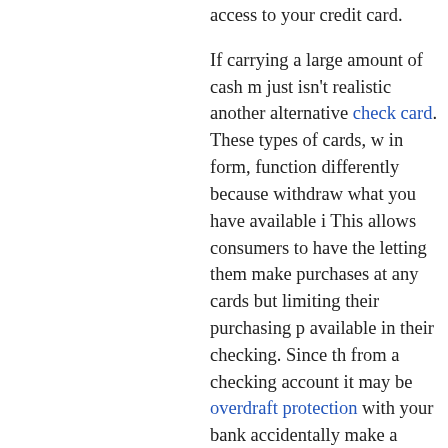access to your credit card.
If carrying a large amount of cash m just isn't realistic another alternative check card. These types of cards, w in form, function differently because withdraw what you have available i This allows consumers to have the letting them make purchases at any cards but limiting their purchasing p available in their checking. Since th from a checking account it may be overdraft protection with your bank accidentally make a purchase large checking.
If the aforementioned suggestions using your credit card then as a las to cancel all but one credit card. W